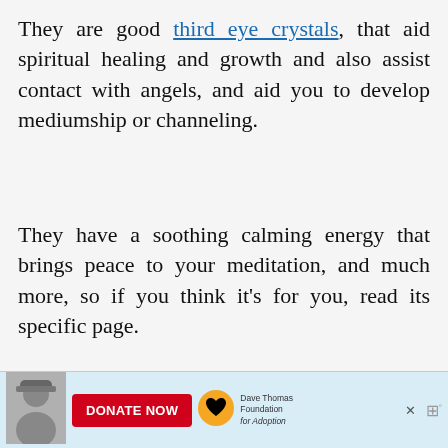They are good third eye crystals, that aid spiritual healing and growth and also assist contact with angels, and aid you to develop mediumship or channeling.
They have a soothing calming energy that brings peace to your meditation, and much more, so if you think it's for you, read its specific page.
[Figure (illustration): Purple background advertisement image with a pink heart and text 'check in with your squad' in white and gold. Partially visible. Overlaid with a 'WHAT'S NEXT' popup showing 'A To Z of Crystals...' and social sharing sidebar with heart icon (5 likes) and share button.]
[Figure (illustration): Bottom banner ad for Dave Thomas Foundation for Adoption with a man in winter clothing on the left, a red DONATE NOW button in center, a yellow heart logo, and 'Dave Thomas Foundation for Adoption' text.]